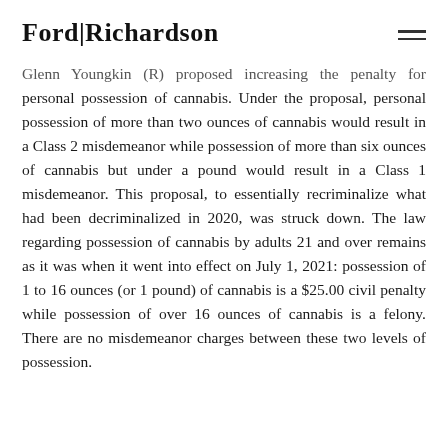Ford|Richardson
Glenn Youngkin (R) proposed increasing the penalty for personal possession of cannabis. Under the proposal, personal possession of more than two ounces of cannabis would result in a Class 2 misdemeanor while possession of more than six ounces of cannabis but under a pound would result in a Class 1 misdemeanor. This proposal, to essentially recriminalize what had been decriminalized in 2020, was struck down. The law regarding possession of cannabis by adults 21 and over remains as it was when it went into effect on July 1, 2021: possession of 1 to 16 ounces (or 1 pound) of cannabis is a $25.00 civil penalty while possession of over 16 ounces of cannabis is a felony. There are no misdemeanor charges between these two levels of possession.